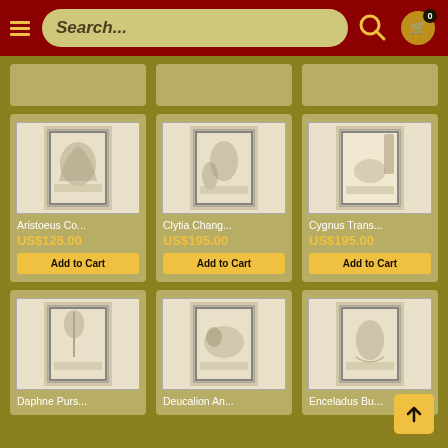[Figure (screenshot): E-commerce website header with hamburger menu, search bar, search icon, and cart icon showing 0 items]
[Figure (screenshot): Product card: Aristoeus Co... - antique engraving print, US$125.00, Add to Cart button]
[Figure (screenshot): Product card: Clytia Chang... - antique engraving print, US$195.00, Add to Cart button]
[Figure (screenshot): Product card: Cygnus Trans... - antique engraving print, US$195.00, Add to Cart button]
[Figure (screenshot): Product card (partial): Daphne Purs... - antique engraving print]
[Figure (screenshot): Product card (partial): Deucalion An... - antique engraving print]
[Figure (screenshot): Product card (partial): Enceladus Bu... - antique engraving print]